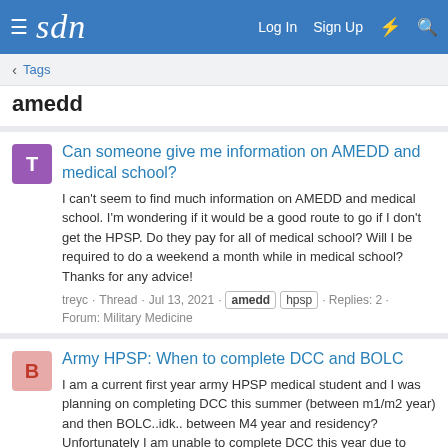sdn — Log In  Sign Up
< Tags
amedd
Can someone give me information on AMEDD and medical school?
I can't seem to find much information on AMEDD and medical school. I'm wondering if it would be a good route to go if I don't get the HPSP. Do they pay for all of medical school? Will I be required to do a weekend a month while in medical school? Thanks for any advice!
treyc · Thread · Jul 13, 2021 · amedd  hpsp · Replies: 2 · Forum: Military Medicine
Army HPSP: When to complete DCC and BOLC
I am a current first year army HPSP medical student and I was planning on completing DCC this summer (between m1/m2 year) and then BOLC..idk.. between M4 year and residency? Unfortunately I am unable to complete DCC this year due to them not having enough spots anymore due to the COvid crisis.